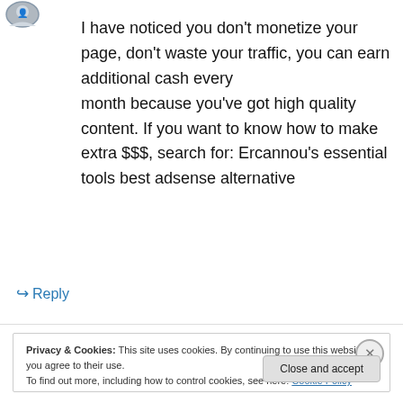[Figure (illustration): Small avatar/profile image icon at top left]
I have noticed you don't monetize your page, don't waste your traffic, you can earn additional cash every month because you've got high quality content. If you want to know how to make extra $$$, search for: Ercannou's essential tools best adsense alternative
↳ Reply
Privacy & Cookies: This site uses cookies. By continuing to use this website, you agree to their use. To find out more, including how to control cookies, see here: Cookie Policy
Close and accept